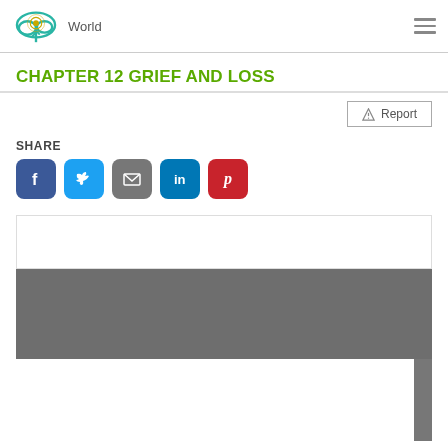World
CHAPTER 12 GRIEF AND LOSS
Report
SHARE
[Figure (screenshot): Social share buttons: Facebook, Twitter, Email, LinkedIn, Pinterest]
[Figure (screenshot): Embedded content area with white top portion and gray bottom portion]